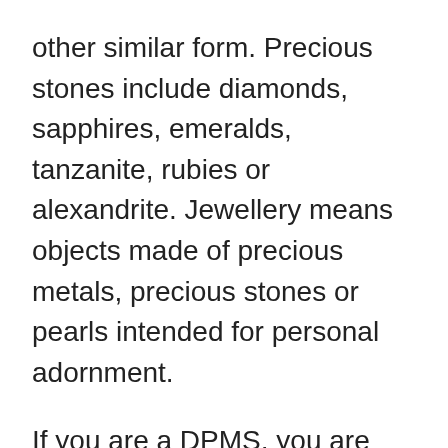other similar form. Precious stones include diamonds, sapphires, emeralds, tanzanite, rubies or alexandrite. Jewellery means objects made of precious metals, precious stones or pearls intended for personal adornment.
If you are a DPMS, you are subject to the reporting requirements explained in this guideline if you engage in the purchase or sale of precious metals, precious stones or jewellery in an amount of $10,000 or more in a single transaction. However, you are not subject to the reporting requirements